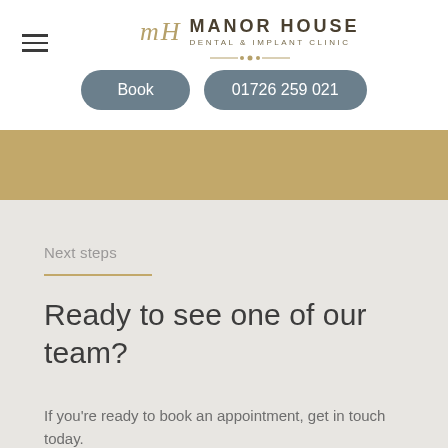MH Manor House Dental & Implant Clinic
Book   01726 259 021
Next steps
Ready to see one of our team?
If you're ready to book an appointment, get in touch today.